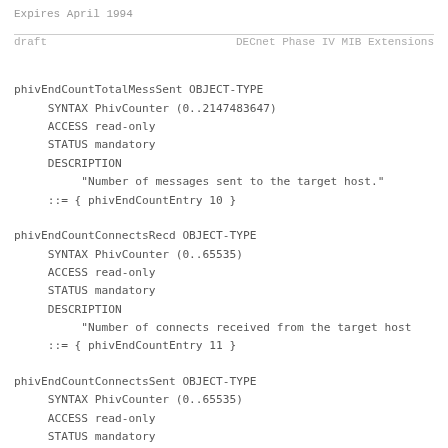Expires April 1994
draft                    DECnet Phase IV MIB Extensions
phivEndCountTotalMessSent OBJECT-TYPE
     SYNTAX PhivCounter (0..2147483647)
     ACCESS read-only
     STATUS mandatory
     DESCRIPTION
          "Number of messages sent to the target host."
     ::= { phivEndCountEntry 10 }
phivEndCountConnectsRecd OBJECT-TYPE
     SYNTAX PhivCounter (0..65535)
     ACCESS read-only
     STATUS mandatory
     DESCRIPTION
          "Number of connects received from the target host
     ::= { phivEndCountEntry 11 }
phivEndCountConnectsSent OBJECT-TYPE
     SYNTAX PhivCounter (0..65535)
     ACCESS read-only
     STATUS mandatory
     DESCRIPTION
          "Number of connects sent to the target host."
     ::= {phivEndCountEntry 12 }